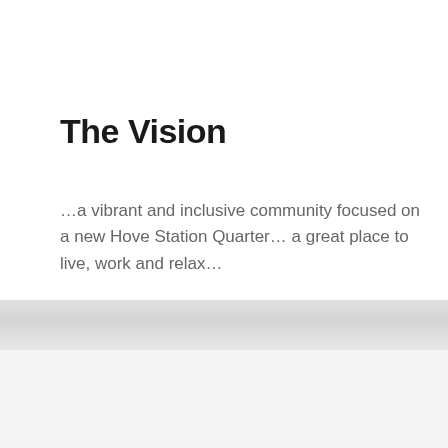The Vision
…a vibrant and inclusive community focused on a new Hove Station Quarter… a great place to live, work and relax…
[Figure (illustration): A puzzle piece shaped sign reading 'Hove Station' with a circular puzzle connector tab at the top, rendered as a black outlined illustration on a light grey background.]